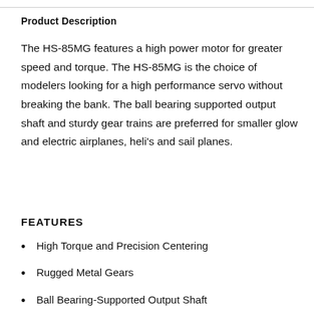Product Description
The HS-85MG features a high power motor for greater speed and torque. The HS-85MG is the choice of modelers looking for a high performance servo without breaking the bank. The ball bearing supported output shaft and sturdy gear trains are preferred for smaller glow and electric airplanes, heli's and sail planes.
FEATURES
High Torque and Precision Centering
Rugged Metal Gears
Ball Bearing-Supported Output Shaft
Perfect for Applications where a Standard Servo is too